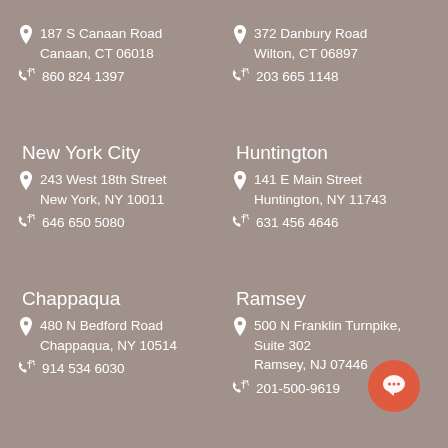187 S Canaan Road
Canaan, CT 06018
860 824 1397
372 Danbury Road
Wilton, CT 06897
203 665 1148
New York City
243 West 18th Street
New York, NY 10011
646 650 5080
Huntington
141 E Main Street
Huntington, NY 11743
631 456 4646
Chappaqua
480 N Bedford Road
Chappaqua, NY 10514
914 534 6030
Ramsey
500 N Franklin Turnpike, Suite 302
Ramsey, NJ 07446
201-500-9619